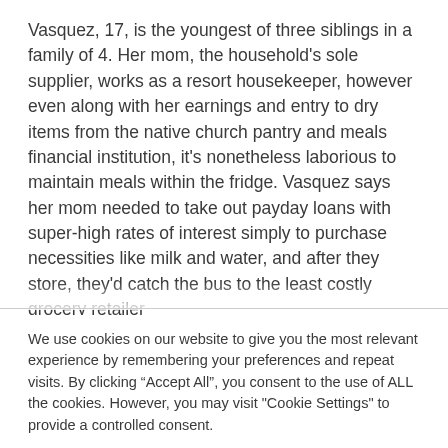Vasquez, 17, is the youngest of three siblings in a family of 4. Her mom, the household's sole supplier, works as a resort housekeeper, however even along with her earnings and entry to dry items from the native church pantry and meals financial institution, it's nonetheless laborious to maintain meals within the fridge. Vasquez says her mom needed to take out payday loans with super-high rates of interest simply to purchase necessities like milk and water, and after they store, they'd catch the bus to the least costly grocery retailer
We use cookies on our website to give you the most relevant experience by remembering your preferences and repeat visits. By clicking “Accept All”, you consent to the use of ALL the cookies. However, you may visit "Cookie Settings" to provide a controlled consent.